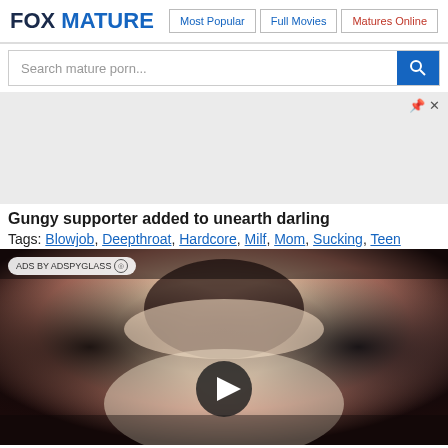FOX MATURE — Most Popular | Full Movies | Matures Online
Search mature porn...
[Figure (other): Advertisement banner area with gray background, pin and close controls]
Gungy supporter added to unearth darling
Tags: Blowjob, Deepthroat, Hardcore, Milf, Mom, Sucking, Teen
[Figure (photo): Video thumbnail showing close-up photo with play button overlay and ADS BY ADSPYGLASS badge]